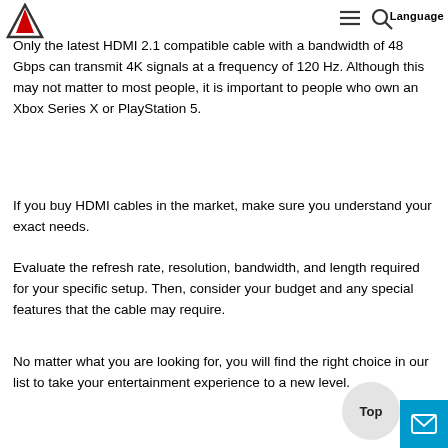Language
Only the latest HDMI 2.1 compatible cable with a bandwidth of 48 Gbps can transmit 4K signals at a frequency of 120 Hz. Although this may not matter to most people, it is important to people who own an Xbox Series X or PlayStation 5.
If you buy HDMI cables in the market, make sure you understand your exact needs.
Evaluate the refresh rate, resolution, bandwidth, and length required for your specific setup. Then, consider your budget and any special features that the cable may require.
No matter what you are looking for, you will find the right choice in our list to take your entertainment experience to a new level.